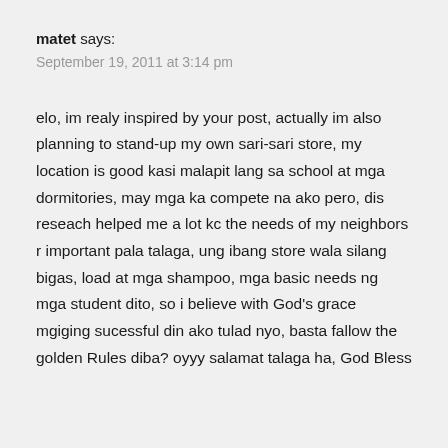matet says:
September 19, 2011 at 3:14 pm
elo, im realy inspired by your post, actually im also planning to stand-up my own sari-sari store, my location is good kasi malapit lang sa school at mga dormitories, may mga ka compete na ako pero, dis reseach helped me a lot kc the needs of my neighbors r important pala talaga, ung ibang store wala silang bigas, load at mga shampoo, mga basic needs ng mga student dito, so i believe with God’s grace mgiging sucessful din ako tulad nyo, basta fallow the golden Rules diba? oyyy salamat talaga ha, God Bless